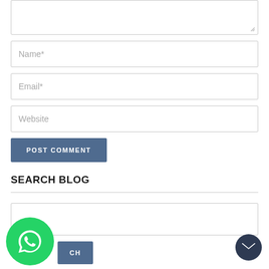[Figure (screenshot): Textarea input field (partially visible) with resize handle at bottom-right corner]
Name*
Email*
Website
POST COMMENT
SEARCH BLOG
[Figure (screenshot): Search input field and SEARCH button with WhatsApp floating icon bottom-left and mail floating button bottom-right]